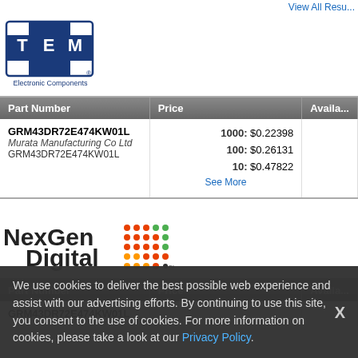View All Resu...
[Figure (logo): TME Electronic Components logo - blue diamond shape with T, M, E letters]
| Part Number | Price | Avail... |
| --- | --- | --- |
| GRM43DR72E474KW01L
Murata Manufacturing Co Ltd
GRM43DR72E474KW01L | 1000: $0.22398
100: $0.26131
10: $0.47822
See More |  |
[Figure (logo): NexGen Digital logo with colorful dot grid pattern]
| Part Number | Price | Avail... |
| --- | --- | --- |
| GRM43DR72E474KW01L |  |  |
We use cookies to deliver the best possible web experience and assist with our advertising efforts. By continuing to use this site, you consent to the use of cookies. For more information on cookies, please take a look at our Privacy Policy.